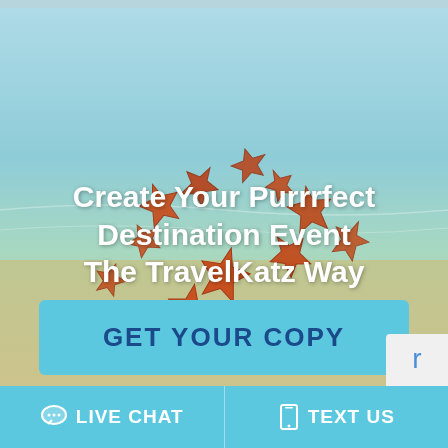[Figure (photo): Beach scene with multiple starfish resting on sandy shallow water with light blue clear ocean water background]
Create Your Purrrfect Destination Event The TravelKatz Way
GET YOUR COPY
LIVE CHAT   TEXT US